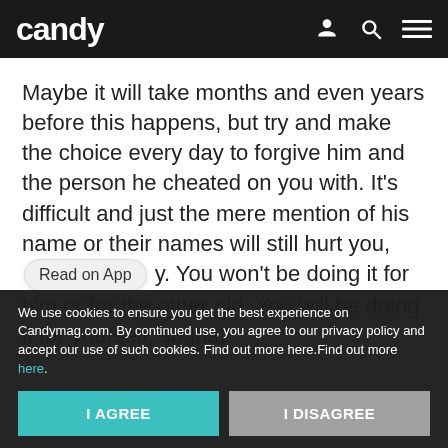candy
Maybe it will take months and even years before this happens, but try and make the choice every day to forgive him and the person he cheated on you with. It’s difficult and just the mere mention of his name or their names will still hurt you, [Read on App] y. You won’t be doing it for him or for the other girl. You will be doing it for yourself, so that
We use cookies to ensure you get the best experience on Candymag.com. By continued use, you agree to our privacy policy and accept our use of such cookies. Find out more here.Find out more here.